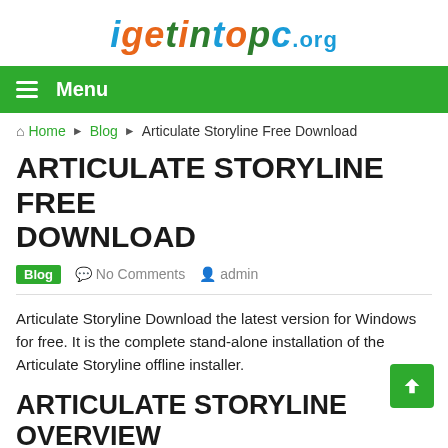igetintopc.org
Menu
Home ▶ Blog ▶ Articulate Storyline Free Download
ARTICULATE STORYLINE FREE DOWNLOAD
Blog  No Comments  admin
Articulate Storyline Download the latest version for Windows for free. It is the complete stand-alone installation of the Articulate Storyline offline installer.
ARTICULATE STORYLINE OVERVIEW